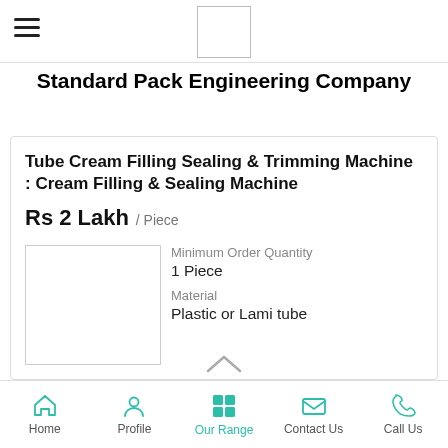Standard Pack Engineering Company
Tube Cream Filling Sealing & Trimming Machine : Cream Filling & Sealing Machine
Rs 2 Lakh / Piece
Minimum Order Quantity
1 Piece
Material
Plastic or Lami tube
Home   Profile   Our Range   Contact Us   Call Us